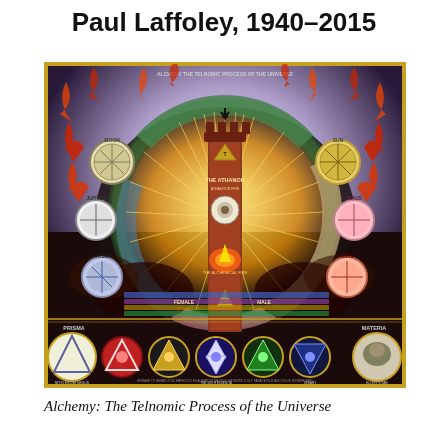Paul Laffoley, 1940–2015
[Figure (illustration): Reproduction of Paul Laffoley's artwork 'Alchemy: The Telnomic Process of the Universe' — a large complex diagrammatic painting featuring a central alchemical furnace (athanor) tower, a circular wheel with planetary symbols (Moon, Jupiter, Saturn, Mars, Venus, Sun), flames, radiating light beams, alchemical symbols, and a bottom row of circular glyphs. Dark background with vivid colors including red flames, gold/yellow light, and multicolored circular medallions.]
Alchemy: The Telnomic Process of the Universe